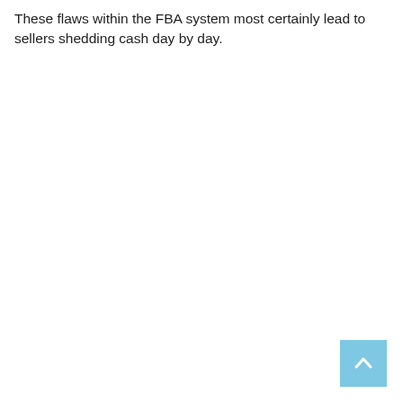These flaws within the FBA system most certainly lead to sellers shedding cash day by day.
[Figure (other): Back-to-top button: a light blue square with an upward-pointing chevron/arrow icon in white.]